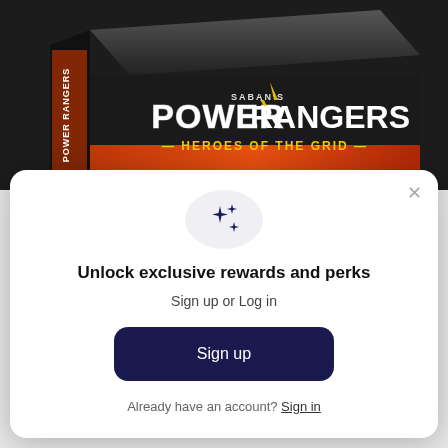[Figure (photo): Power Rangers Heroes of the Grid board game box shown at an angle against a dark background with red and orange gradient. The box prominently shows Saban's Power Rangers Heroes of the Grid logo in white and yellow lettering.]
[Figure (screenshot): A modal/popup dialog with a light gray sparkle icon circle at top, title 'Unlock exclusive rewards and perks', subtitle 'Sign up or Log in', a dark navy Sign up button, and a text link 'Already have an account? Sign in'. An X close button appears at top right.]
Unlock exclusive rewards and perks
Sign up or Log in
Sign up
Already have an account? Sign in